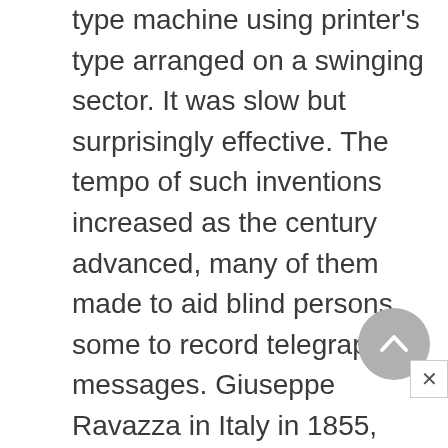type machine using printer's type arranged on a swinging sector. It was slow but surprisingly effective. The tempo of such inventions increased as the century advanced, many of them made to aid blind persons, some to record telegraph messages. Giuseppe Ravazza in Italy in 1855, William Francis in the United States in 1857, and Peter Mitterofer in Austria in 1866 used individual keys for each character, and type bars pivoted around an arc so that all printed at the